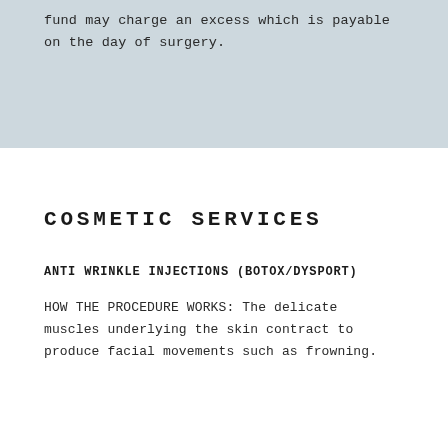fund may charge an excess which is payable on the day of surgery.
COSMETIC SERVICES
ANTI WRINKLE INJECTIONS (BOTOX/DYSPORT)
HOW THE PROCEDURE WORKS: The delicate muscles underlying the skin contract to produce facial movements such as frowning.